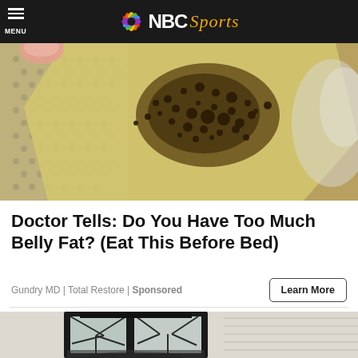MENU — NBC Sports
[Figure (photo): Close-up photo of a yellowish translucent substance with dark brown speckles, being peeled or lifted, with a textured/patterned surface visible behind it.]
Doctor Tells: Do You Have Too Much Belly Fat? (Eat This Before Bed)
Gundry MD | Total Restore | Sponsored
[Figure (photo): Photo of a black metal outdoor lantern/sconce with geometric glass panes, mounted on a light-colored house siding. The glass appears frosted or dirty.]